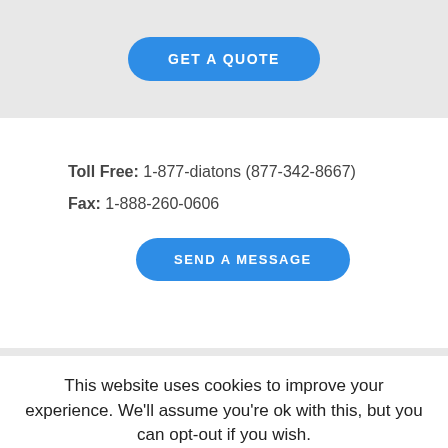[Figure (other): Blue rounded button labeled GET A QUOTE on grey background]
Toll Free: 1-877-diatons (877-342-8667)
Fax: 1-888-260-0606
[Figure (other): Blue rounded button labeled SEND A MESSAGE]
This website uses cookies to improve your experience. We'll assume you're ok with this, but you can opt-out if you wish.
Accept   Read More